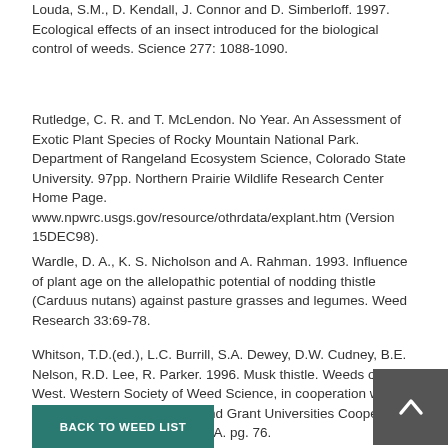Louda, S.M., D. Kendall, J. Connor and D. Simberloff. 1997. Ecological effects of an insect introduced for the biological control of weeds. Science 277: 1088-1090.
Rutledge, C. R. and T. McLendon. No Year. An Assessment of Exotic Plant Species of Rocky Mountain National Park. Department of Rangeland Ecosystem Science, Colorado State University. 97pp. Northern Prairie Wildlife Research Center Home Page. www.npwrc.usgs.gov/resource/othrdata/explant.htm (Version 15DEC98).
Wardle, D. A., K. S. Nicholson and A. Rahman. 1993. Influence of plant age on the allelopathic potential of nodding thistle (Carduus nutans) against pasture grasses and legumes. Weed Research 33:69-78.
Whitson, T.D.(ed.), L.C. Burrill, S.A. Dewey, D.W. Cudney, B.E. Nelson, R.D. Lee, R. Parker. 1996. Musk thistle. Weeds of the West. Western Society of Weed Science, in cooperation with the Western United States Land Grant Universities Cooperative Extension Services, Newark CA. pg. 76.
BACK TO WEED LIST